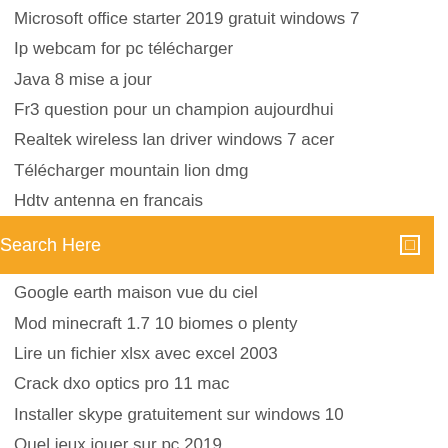Microsoft office starter 2019 gratuit windows 7
Ip webcam for pc télécharger
Java 8 mise a jour
Fr3 question pour un champion aujourdhui
Realtek wireless lan driver windows 7 acer
Télécharger mountain lion dmg
Hdtv antenna en francais
[Figure (screenshot): Orange search bar with text 'Search Here' and a small square icon on the right]
Google earth maison vue du ciel
Mod minecraft 1.7 10 biomes o plenty
Lire un fichier xlsx avec excel 2003
Crack dxo optics pro 11 mac
Installer skype gratuitement sur windows 10
Quel jeux jouer sur pc 2019
Comment installer avast gratuit sur windows xp
Harry potter secret à poudlard animagus
Comment télécharger mac os x el capitan
Regarder france 24 gratuitement